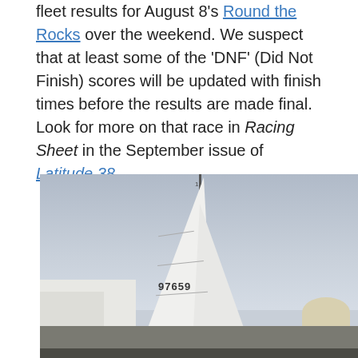fleet results for August 8's Round the Rocks over the weekend. We suspect that at least some of the 'DNF' (Did Not Finish) scores will be updated with finish times before the results are made final. Look for more on that race in Racing Sheet in the September issue of Latitude 38.
[Figure (photo): Photograph of a sailboat with sail number 97659, shown against an overcast sky with industrial buildings and a tank/dome structure in the background.]